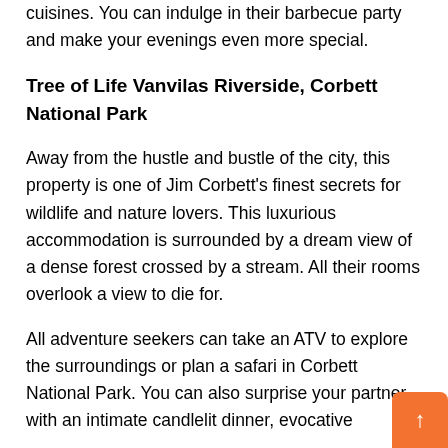cuisines. You can indulge in their barbecue party and make your evenings even more special.
Tree of Life Vanvilas Riverside, Corbett National Park
Away from the hustle and bustle of the city, this property is one of Jim Corbett's finest secrets for wildlife and nature lovers. This luxurious accommodation is surrounded by a dream view of a dense forest crossed by a stream. All their rooms overlook a view to die for.
All adventure seekers can take an ATV to explore the surroundings or plan a safari in Corbett National Park. You can also surprise your partner with an intimate candlelit dinner, evocative